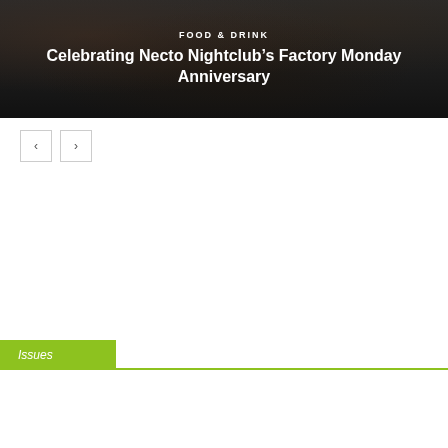[Figure (photo): Dark nightclub photo showing people in dark clothing, used as hero image background]
FOOD & DRINK
Celebrating Necto Nightclub’s Factory Monday Anniversary
Issues